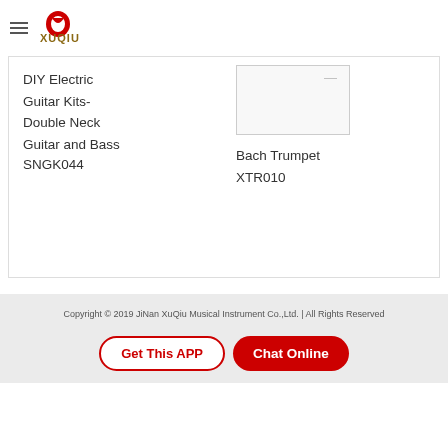XUQIU
DIY Electric Guitar Kits-Double Neck Guitar and Bass SNGK044
[Figure (photo): Product image placeholder for Bach Trumpet XTR010]
Bach Trumpet XTR010
Copyright © 2019 JiNan XuQiu Musical Instrument Co.,Ltd. | All Rights Reserved
Get This APP
Chat Online